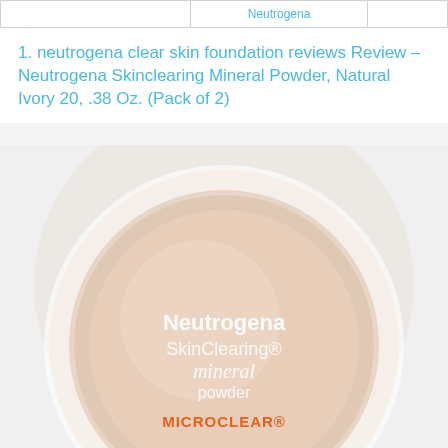|  | Neutrogena |  |
| --- | --- | --- |
|  |
1. neutrogena clear skin foundation reviews Review – Neutrogena Skinclearing Mineral Powder, Natural Ivory 20, .38 Oz. (Pack of 2)
[Figure (photo): Product photo of Neutrogena SkinClearing mineral powder compact, Natural Ivory shade, showing the open compact with text: Neutrogena SkinClearing mineral powder MICROCLEAR]